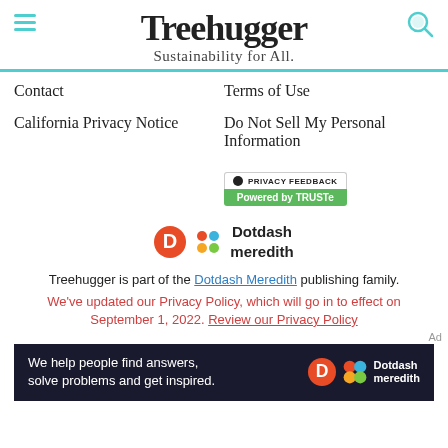Treehugger — Sustainability for All.
Contact
Terms of Use
California Privacy Notice
Do Not Sell My Personal Information
[Figure (logo): Privacy Feedback / Powered by TRUSTe badge]
[Figure (logo): Dotdash Meredith logo]
Treehugger is part of the Dotdash Meredith publishing family.
We've updated our Privacy Policy, which will go in to effect on September 1, 2022. Review our Privacy Policy
[Figure (other): Dotdash Meredith ad banner: We help people find answers, solve problems and get inspired.]